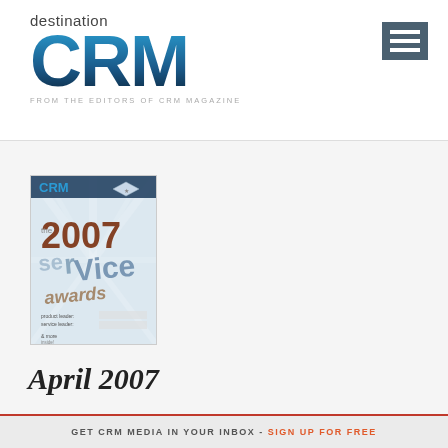[Figure (logo): destination CRM logo with large bold gradient blue CRM text and tagline FROM THE EDITORS OF CRM MAGAZINE]
[Figure (illustration): Hamburger menu icon (three horizontal white lines on dark blue-grey background)]
[Figure (photo): CRM Magazine April 2007 cover showing 2007 Service Awards with large text and radiating light design]
April 2007
GET CRM MEDIA IN YOUR INBOX - SIGN UP FOR FREE